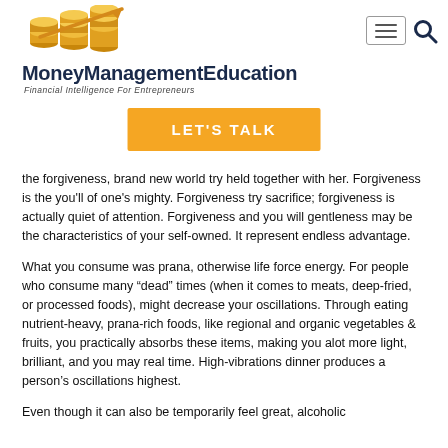[Figure (logo): MoneyManagementEducation logo with gold coins and upward arrow, site title and subtitle]
[Figure (screenshot): Hamburger menu button and search icon in top right]
LET'S TALK
the forgiveness, brand new world try held together with her. Forgiveness is the you'll of one's mighty. Forgiveness try sacrifice; forgiveness is actually quiet of attention. Forgiveness and you will gentleness may be the characteristics of your self-owned. It represent endless advantage.
What you consume was prana, otherwise life force energy. For people who consume many “dead” times (when it comes to meats, deep-fried, or processed foods), might decrease your oscillations. Through eating nutrient-heavy, prana-rich foods, like regional and organic vegetables & fruits, you practically absorbs these items, making you alot more light, brilliant, and you may real time. High-vibrations dinner produces a person’s oscillations highest.
Even though it can also be temporarily feel great, alcoholic